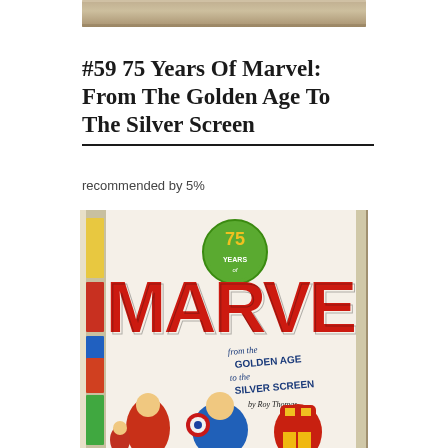[Figure (photo): Top edge of a hardcover book spine, tan/beige colored]
#59 75 Years Of Marvel: From The Golden Age To The Silver Screen
recommended by 5%
[Figure (photo): Book cover of '75 Years of Marvel: From the Golden Age to the Silver Screen by Roy Thomas', featuring large red MARVEL text, comic characters including Captain America, Iron Man, Wasp, and other heroes]